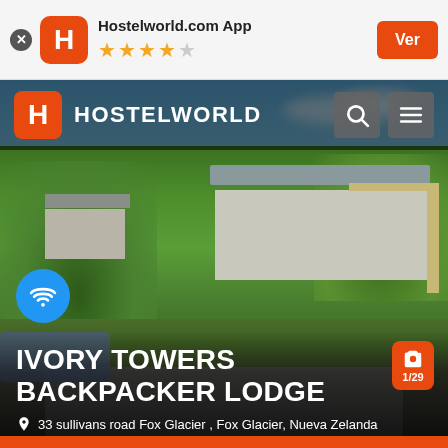[Figure (screenshot): Hostelworld.com App banner with orange H logo, 4 filled stars and 1 empty star, and Ver button]
[Figure (photo): Aerial/landscape photo of Ivory Towers Backpacker Lodge, Fox Glacier, New Zealand — green trees, buildings with grey roofs, blue sky, road in foreground. Hostelworld navigation bar overlay at top with orange H logo and HOSTELWORLD text. WiFi icon badge. Property name IVORY TOWERS BACKPACKER LODGE in white bold text. Address: 33 sullivans road Fox Glacier , Fox Glacier, Nueva Zelanda. Photo counter 1/29.]
IVORY TOWERS BACKPACKER LODGE
33 sullivans road Fox Glacier , Fox Glacier, Nueva Zelanda